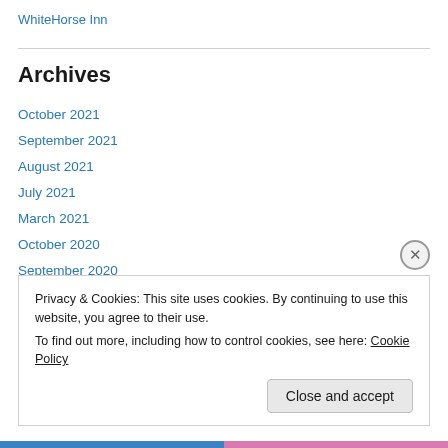WhiteHorse Inn
Archives
October 2021
September 2021
August 2021
July 2021
March 2021
October 2020
September 2020
August 2020
Privacy & Cookies: This site uses cookies. By continuing to use this website, you agree to their use.
To find out more, including how to control cookies, see here: Cookie Policy
Close and accept